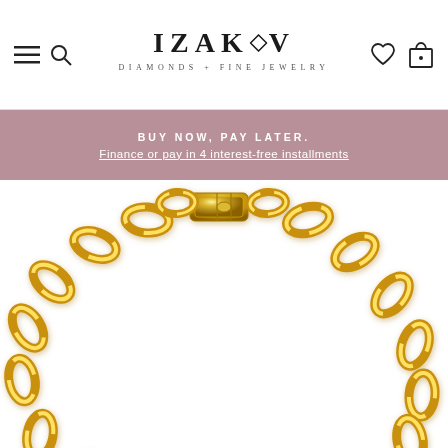[Figure (logo): IZAKOV DIAMONDS + FINE JEWELRY logo with diamond icon in the center of the O]
BUY NOW, PAY LATER.
Finance or pay in 4 interest-free installments
[Figure (photo): Close-up photo of a gold Cuban link chain bracelet with box clasp on a white background]